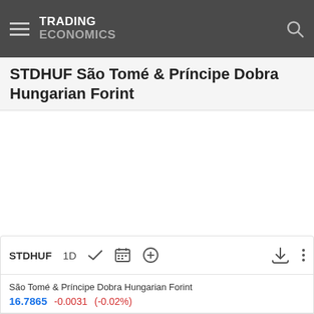TRADING ECONOMICS
STDHUF São Tomé & Príncipe Dobra Hungarian Forint
[Figure (other): Empty chart area for STDHUF currency pair price chart]
STDHUF  1D  São Tomé & Príncipe Dobra Hungarian Forint  16.7865  -0.0031  (-0.02%)